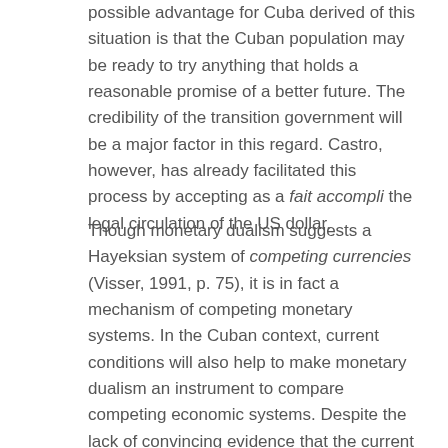possible advantage for Cuba derived of this situation is that the Cuban population may be ready to try anything that holds a reasonable promise of a better future. The credibility of the transition government will be a major factor in this regard. Castro, however, has already facilitated this process by accepting as a fait accompli the legal circulation of the US dollar.
Though monetary dualism suggests a Hayeksian system of competing currencies (Visser, 1991, p. 75), it is in fact a mechanism of competing monetary systems. In the Cuban context, current conditions will also help to make monetary dualism an instrument to compare competing economic systems. Despite the lack of convincing evidence that the current policy measures in Cuba are serious and irreversible moves towards a market economy, the process may prove to be irreversible. In any case, the road is paved for experimentation by a